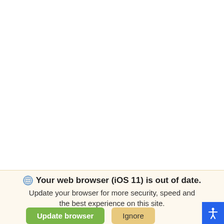[Figure (screenshot): White blank area representing an out-of-date browser page content area]
Your web browser (iOS 11) is out of date. Update your browser for more security, speed and the best experience on this site.
Update browser   Ignore